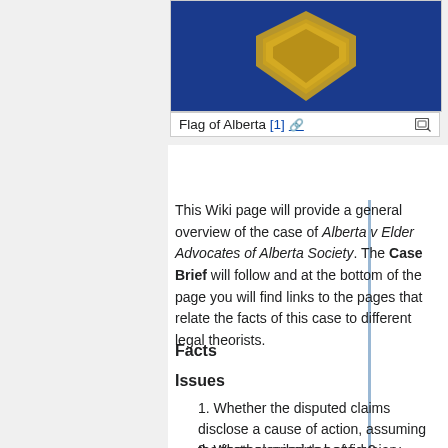[Figure (illustration): Flag of Alberta — blue background with a gold/yellow diamond shield in the center]
Flag of Alberta [1]
This Wiki page will provide a general overview of the case of Alberta v Elder Advocates of Alberta Society. The Case Brief will follow and at the bottom of the page you will find links to the pages that relate the facts of this case to different legal theorists.
Facts
Issues
Whether the disputed claims disclose a cause of action, assuming the facts pleaded to be true?
Whether principles of fiduciary